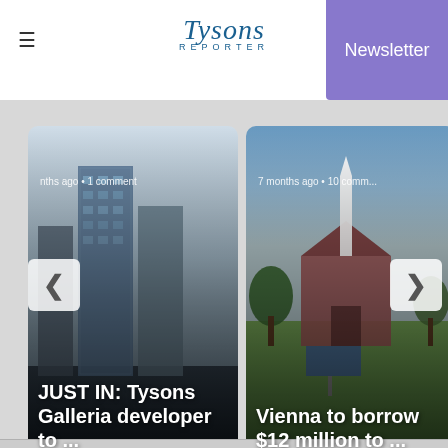Tysons Reporter
[Figure (screenshot): Navigation slider showing two article cards: 'JUST IN: Tysons Galleria developer to ...' with building rendering background, and 'Vienna to borrow $12 million to ...' with outdoor church/building photo background. Left arrow and right arrow navigation buttons are visible.]
nths ago • 1 comment
JUST IN: Tysons Galleria developer to ...
7 months ago • 10 comm...
Vienna to borrow $12 million to ...